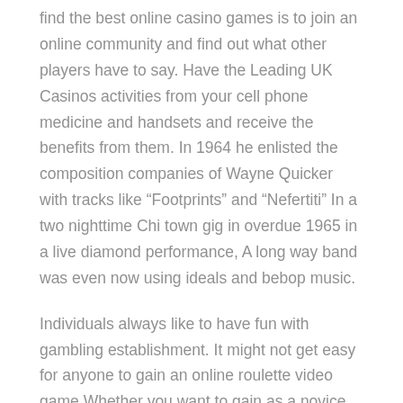find the best online casino games is to join an online community and find out what other players have to say. Have the Leading UK Casinos activities from your cell phone medicine and handsets and receive the benefits from them. In 1964 he enlisted the composition companies of Wayne Quicker with tracks like “Footprints” and “Nefertiti” In a two nighttime Chi town gig in overdue 1965 in a live diamond performance, A long way band was even now using ideals and bebop music.
Individuals always like to have fun with gambling establishment. It might not get easy for anyone to gain an online roulette video game Whether you want to gain as a novice then may get worried because you might follow a specialist Casino player. No issue how we choose to twist things with verses the issue is it displays spaces in understanding of generation which is unexplainable